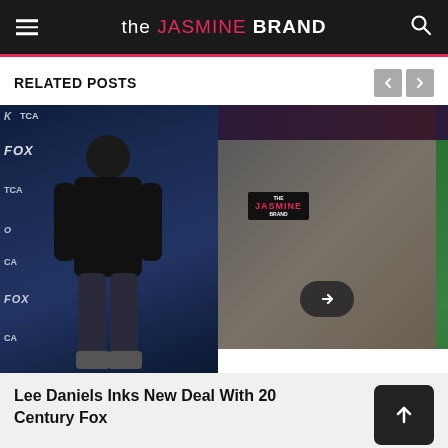the JASMINE BRAND
RELATED POSTS
[Figure (photo): Carousel of related posts showing: (1) Lee Daniels at FOX TCA press event on blue carpet wearing black jacket and jeans; (2) close-up of man's face overlaid by the Jasmine Brand logo; (3) rapper with braids/locs at green screen event]
Lee Daniels Inks New Deal With 20 Century Fox